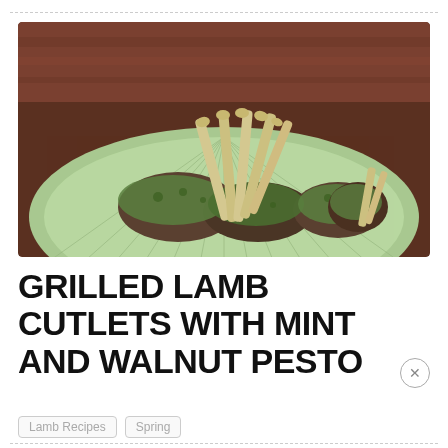[Figure (photo): A plate of grilled lamb cutlets arranged upright on a green decorative plate, topped with green mint and walnut pesto sauce, set against a dark wooden background.]
GRILLED LAMB CUTLETS WITH MINT AND WALNUT PESTO
Lamb Recipes   Spring